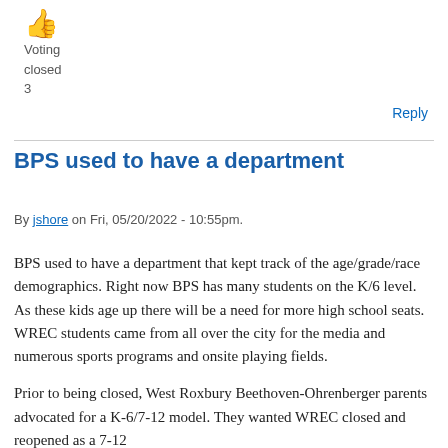[Figure (illustration): Thumbs up emoji icon in orange/gold color]
Voting
closed
3
Reply
BPS used to have a department
By jshore on Fri, 05/20/2022 - 10:55pm.
BPS used to have a department that kept track of the age/grade/race demographics. Right now BPS has many students on the K/6 level. As these kids age up there will be a need for more high school seats. WREC students came from all over the city for the media and numerous sports programs and onsite playing fields.
Prior to being closed, West Roxbury Beethoven-Ohrenberger parents advocated for a K-6/7-12 model. They wanted WREC closed and reopened as a 7-12